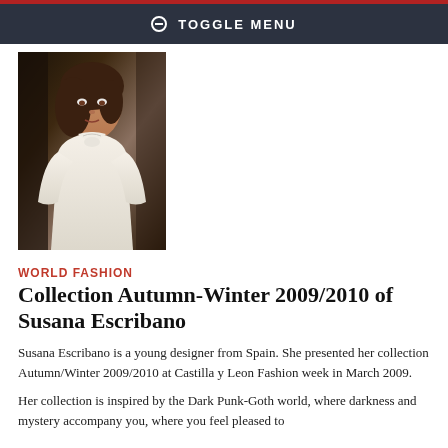TOGGLE MENU
[Figure (photo): Fashion model wearing a white ruffled blouse with bow at the neck, photographed at a fashion show]
WORLD FASHION
Collection Autumn-Winter 2009/2010 of Susana Escribano
Susana Escribano is a young designer from Spain. She presented her collection Autumn/Winter 2009/2010 at Castilla y Leon Fashion week in March 2009.
Her collection is inspired by the Dark Punk-Goth world, where darkness and mystery accompany you, where you feel pleased to